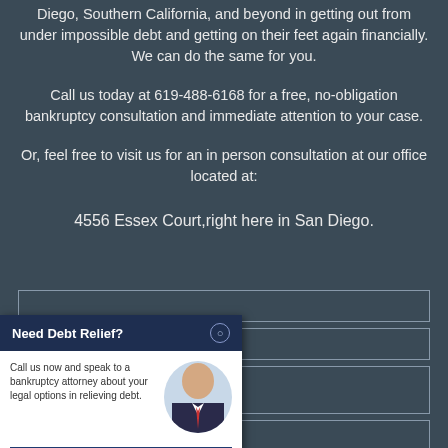Diego, Southern California, and beyond in getting out from under impossible debt and getting on their feet again financially. We can do the same for you.
Call us today at 619-488-6168 for a free, no-obligation bankruptcy consultation and immediate attention to your case.
Or, feel free to visit us for an in person consultation at our office located at:
4556 Essex Court,right here in San Diego.
[Figure (other): Popup widget: 'Need Debt Relief?' with call-to-action and photo of attorney. Text: 'Call us now and speak to a bankruptcy attorney about your legal options in relieving debt.' Button: 619-488-6168]